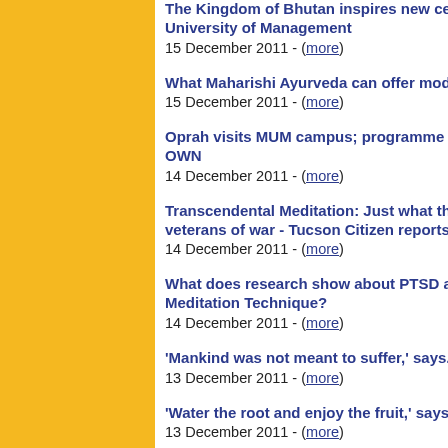The Kingdom of Bhutan inspires new ce... University of Management
15 December 2011 - (more)
What Maharishi Ayurveda can offer mod...
15 December 2011 - (more)
Oprah visits MUM campus; programme t... OWN
14 December 2011 - (more)
Transcendental Meditation: Just what th... veterans of war - Tucson Citizen reports...
14 December 2011 - (more)
What does research show about PTSD a... Meditation Technique?
14 December 2011 - (more)
'Mankind was not meant to suffer,' says...
13 December 2011 - (more)
'Water the root and enjoy the fruit,' says...
13 December 2011 - (more)
Latin America: Both military and schools... Transcendental Meditation
13 December 2011 - (more)
Latin America: More schools request Tra...
13 December 2011 - (more)